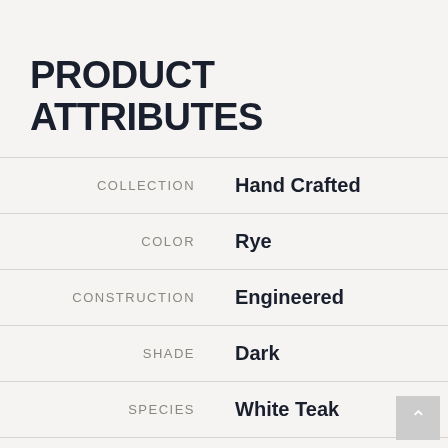PRODUCT ATTRIBUTES
| Attribute | Value |
| --- | --- |
| COLLECTION | Hand Crafted |
| COLOR | Rye |
| CONSTRUCTION | Engineered |
| SHADE | Dark |
| SPECIES | White Teak |
| EDGE | Full Bevel |